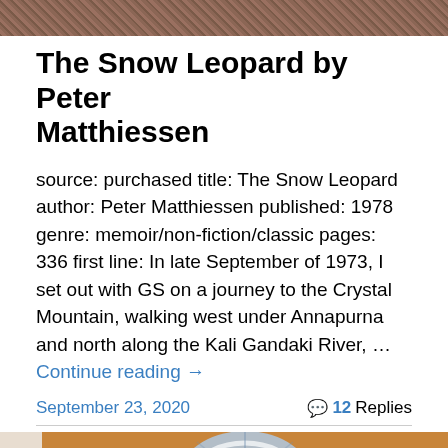[Figure (photo): Top portion of a textured brown/mauve fabric or knitting image, cropped at the top of the page]
The Snow Leopard by Peter Matthiessen
source: purchased title: The Snow Leopard author: Peter Matthiessen published: 1978 genre: memoir/non-fiction/classic pages: 336 first line: In late September of 1973, I set out with GS on a journey to the Crystal Mountain, walking west under Annapurna and north along the Kali Gandaki River, … Continue reading →
September 23, 2020
💬 12 Replies
[Figure (photo): Bottom photo showing a blue and white patterned yarn or fabric roll on an orange/tan background, partially visible at the bottom of the page]